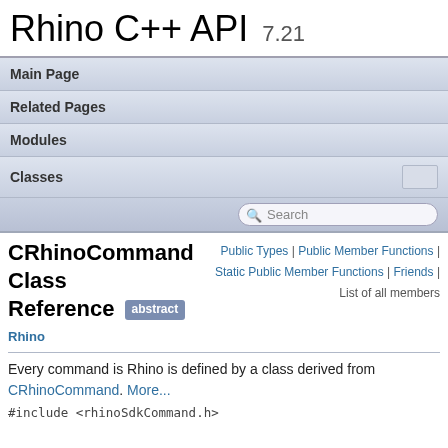Rhino C++ API 7.21
Main Page
Related Pages
Modules
Classes
CRhinoCommand Class Reference [abstract]
Public Types | Public Member Functions | Static Public Member Functions | Friends | List of all members
Rhino
Every command is Rhino is defined by a class derived from CRhinoCommand. More...
#include <rhinoSdkCommand.h>